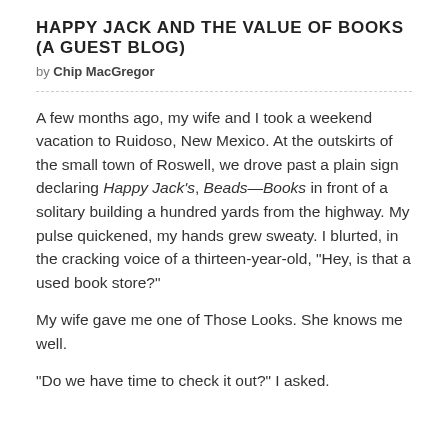HAPPY JACK AND THE VALUE OF BOOKS (A GUEST BLOG)
by Chip MacGregor
A few months ago, my wife and I took a weekend vacation to Ruidoso, New Mexico. At the outskirts of the small town of Roswell, we drove past a plain sign declaring Happy Jack's, Beads—Books in front of a solitary building a hundred yards from the highway. My pulse quickened, my hands grew sweaty. I blurted, in the cracking voice of a thirteen-year-old, "Hey, is that a used book store?"
My wife gave me one of Those Looks. She knows me well.
"Do we have time to check it out?" I asked.